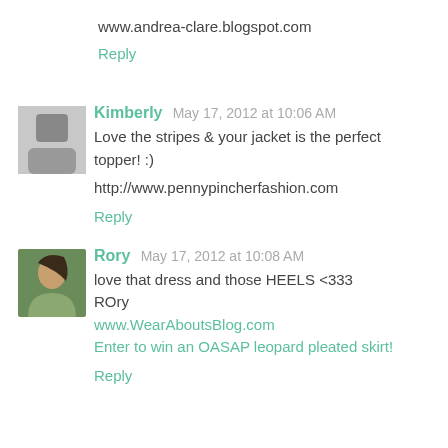www.andrea-clare.blogspot.com
Reply
Kimberly May 17, 2012 at 10:06 AM
Love the stripes & your jacket is the perfect topper! :)
http://www.pennypincherfashion.com
Reply
Rory May 17, 2012 at 10:08 AM
love that dress and those HEELS <333
ROry
www.WearAboutsBlog.com
Enter to win an OASAP leopard pleated skirt!
Reply